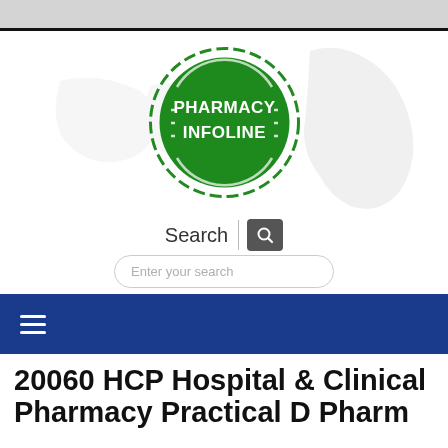[Figure (logo): Pharmacy Infoline logo — a green circle with white text 'PHARMACY INFOLINE' and decorative arc lines, with a faint lion/crest watermark in the background]
Search
Enter your search
20060 HCP Hospital & Clinical Pharmacy Practical D Pharm